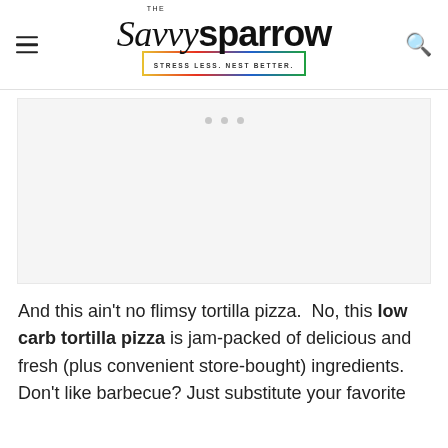THE Savvy Sparrow — STRESS LESS. NEST BETTER.
[Figure (other): Advertisement placeholder area with three gray dots indicating loading content]
And this ain't no flimsy tortilla pizza. No, this low carb tortilla pizza is jam-packed of delicious and fresh (plus convenient store-bought) ingredients. Don't like barbecue? Just substitute your favorite